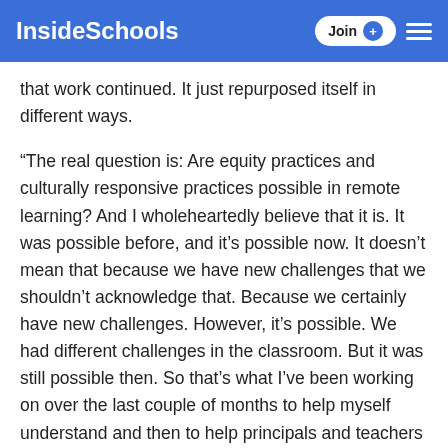InsideSchools
that work continued. It just repurposed itself in different ways.
“The real question is: Are equity practices and culturally responsive practices possible in remote learning? And I wholeheartedly believe that it is. It was possible before, and it’s possible now. It doesn’t mean that because we have new challenges that we shouldn’t acknowledge that. Because we certainly have new challenges. However, it’s possible. We had different challenges in the classroom. But it was still possible then. So that’s what I’ve been working on over the last couple of months to help myself understand and then to help principals and teachers understand how it’s possible.”